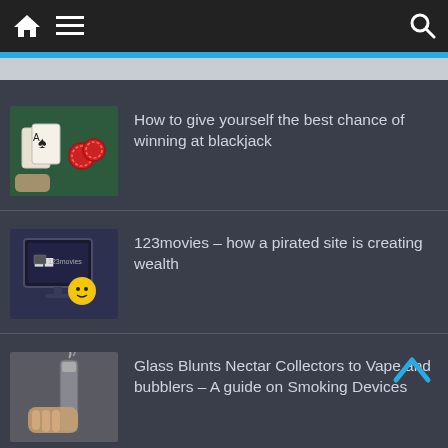Navigation bar with home, menu, and search icons
How to give yourself the best chance of winning at blackjack
123movies – how a pirated site is creating wealth
Glass Blunts Nectar Collectors to Vape and bubblers – A guide on Smoking Devices
Top Ways to Improve the Value of Your Home